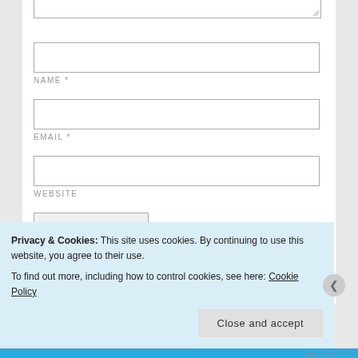[Figure (screenshot): Partial view of a comment form textarea (top portion cut off) with resize handle in bottom-right corner]
NAME *
EMAIL *
WEBSITE
Post Comment
Notify me of new comments via email.
Privacy & Cookies: This site uses cookies. By continuing to use this website, you agree to their use. To find out more, including how to control cookies, see here: Cookie Policy
Close and accept